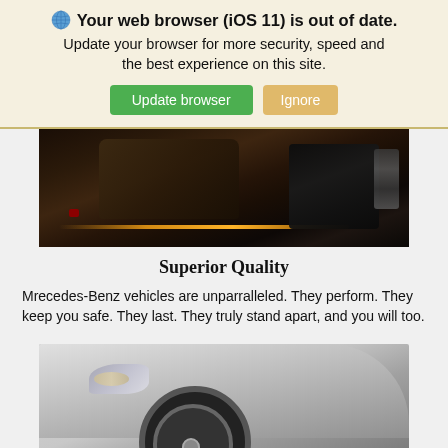🌐 Your web browser (iOS 11) is out of date. Update your browser for more security, speed and the best experience on this site. [Update browser] [Ignore]
[Figure (photo): Close-up photo of a luxury car interior dashboard with ambient orange lighting, dark controls, and tan leather trim]
Superior Quality
Mrecedes-Benz vehicles are unparralleled. They perform. They keep you safe. They last. They truly stand apart, and you will too.
[Figure (photo): Close-up photo of a silver luxury car exterior showing the front headlight, hood, and wheel with a Mercedes-Benz logo on the wheel cap]